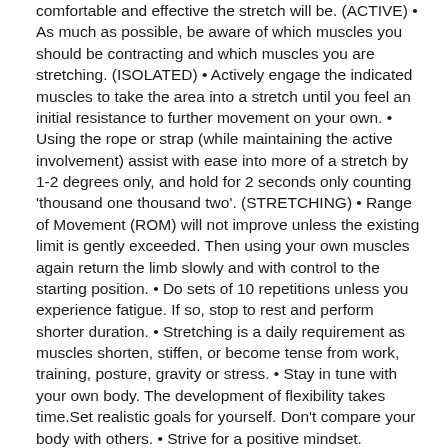comfortable and effective the stretch will be. (ACTIVE) • As much as possible, be aware of which muscles you should be contracting and which muscles you are stretching. (ISOLATED) • Actively engage the indicated muscles to take the area into a stretch until you feel an initial resistance to further movement on your own. • Using the rope or strap (while maintaining the active involvement) assist with ease into more of a stretch by 1-2 degrees only, and hold for 2 seconds only counting 'thousand one thousand two'. (STRETCHING) • Range of Movement (ROM) will not improve unless the existing limit is gently exceeded. Then using your own muscles again return the limb slowly and with control to the starting position. • Do sets of 10 repetitions unless you experience fatigue. If so, stop to rest and perform shorter duration. • Stretching is a daily requirement as muscles shorten, stiffen, or become tense from work, training, posture, gravity or stress. • Stay in tune with your own body. The development of flexibility takes time.Set realistic goals for yourself. Don't compare your body with others. • Strive for a positive mindset. Believing it is possible, knowing specifically how and what to do as you work for consistency of effort and exactness of detail will lead to success.